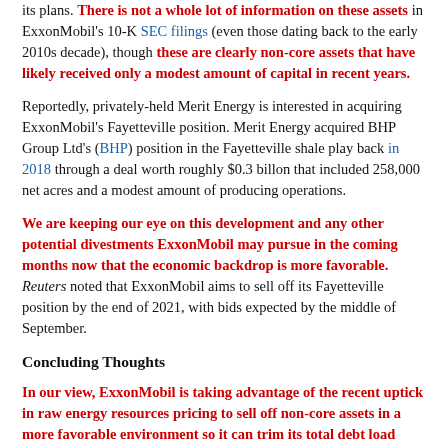its plans. There is not a whole lot of information on these assets in ExxonMobil's 10-K SEC filings (even those dating back to the early 2010s decade), though these are clearly non-core assets that have likely received only a modest amount of capital in recent years.
Reportedly, privately-held Merit Energy is interested in acquiring ExxonMobil's Fayetteville position. Merit Energy acquired BHP Group Ltd's (BHP) position in the Fayetteville shale play back in 2018 through a deal worth roughly $0.3 billon that included 258,000 net acres and a modest amount of producing operations.
We are keeping our eye on this development and any other potential divestments ExxonMobil may pursue in the coming months now that the economic backdrop is more favorable. Reuters noted that ExxonMobil aims to sell off its Fayetteville position by the end of 2021, with bids expected by the middle of September.
Concluding Thoughts
In our view, ExxonMobil is taking advantage of the recent uptick in raw energy resources pricing to sell off non-core assets in a more favorable environment so it can trim its total debt load while pivoting towards its more lucrative opportunities. That includes its massive upstream position in the Permian Basin and off the coast of